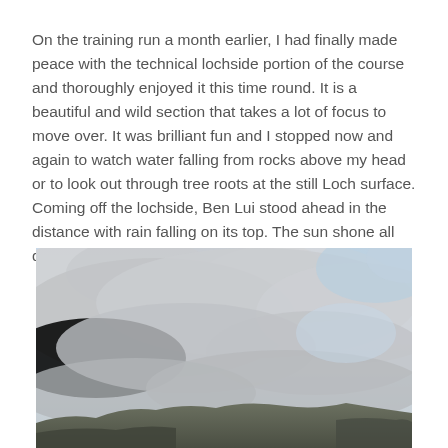On the training run a month earlier, I had finally made peace with the technical lochside portion of the course and thoroughly enjoyed it this time round. It is a beautiful and wild section that takes a lot of focus to move over. It was brilliant fun and I stopped now and again to watch water falling from rocks above my head or to look out through tree roots at the still Loch surface. Coming off the lochside, Ben Lui stood ahead in the distance with rain falling on its top. The sun shone all day on us.
[Figure (photo): Outdoor photograph showing a wide sky with grey and white clouds, and a hint of mountain/hillside terrain at the bottom of the image.]